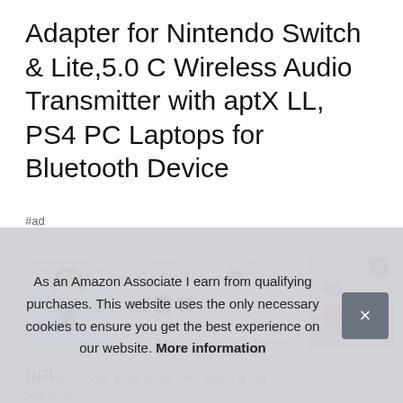Adapter for Nintendo Switch & Lite,5.0 C Wireless Audio Transmitter with aptX LL, PS4 PC Laptops for Bluetooth Device
#ad
[Figure (photo): Four product thumbnail images showing the Bluetooth audio transmitter adapter in various use contexts: child with headphones and Nintendo Switch, device compatibility diagram, product setup diagram, and family watching TV together]
DRI
hea the experience score. Small design ; the design of drili adapter is
As an Amazon Associate I earn from qualifying purchases. This website uses the only necessary cookies to ensure you get the best experience on our website. More information